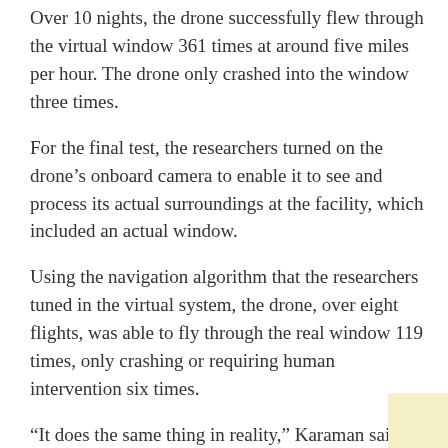Over 10 nights, the drone successfully flew through the virtual window 361 times at around five miles per hour. The drone only crashed into the window three times.
For the final test, the researchers turned on the drone's onboard camera to enable it to see and process its actual surroundings at the facility, which included an actual window.
Using the navigation algorithm that the researchers tuned in the virtual system, the drone, over eight flights, was able to fly through the real window 119 times, only crashing or requiring human intervention six times.
“It does the same thing in reality,” Karaman said. “It’s something we programmed it to do in the virtual environment, by making mistakes, falling apart, and learning. But we didn’t break any actual windows in this process.”